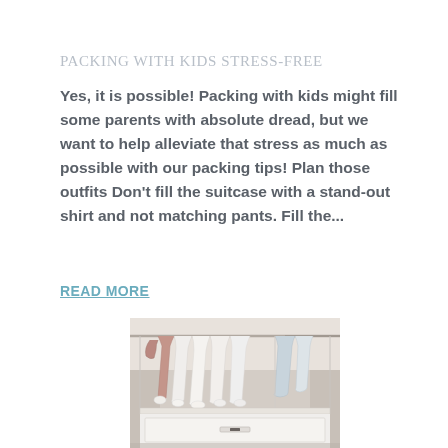Packing with kids Stress-Free
Yes, it is possible! Packing with kids might fill some parents with absolute dread, but we want to help alleviate that stress as much as possible with our packing tips! Plan those outfits Don't fill the suitcase with a stand-out shirt and not matching pants. Fill the...
READ MORE
[Figure (photo): Photo of clothing items hanging on a closet rod, including white shirts and a mauve/pink item, with a white drawer unit below.]